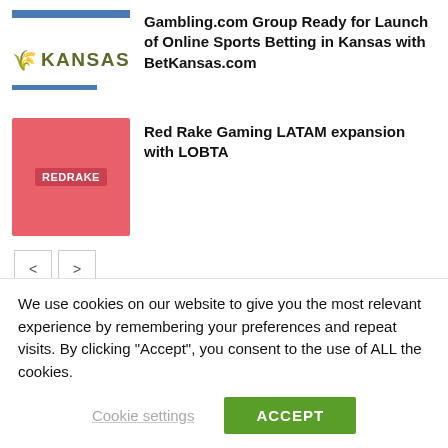[Figure (logo): Kansas state logo with wheat icon and blue bars, for BetKansas.com article]
Gambling.com Group Ready for Launch of Online Sports Betting in Kansas with BetKansas.com
[Figure (logo): Red Rake Gaming logo on pink/coral background]
Red Rake Gaming LATAM expansion with LOBTA
LEAVE A REPLY
We use cookies on our website to give you the most relevant experience by remembering your preferences and repeat visits. By clicking “Accept”, you consent to the use of ALL the cookies.